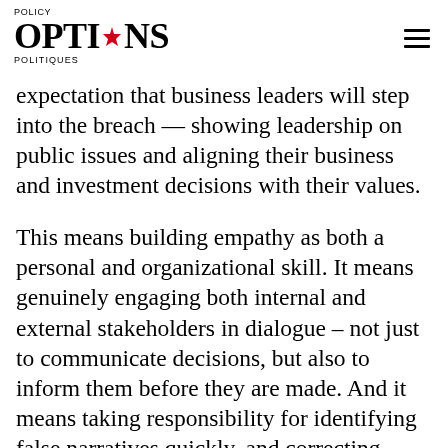POLICY OPTIONS POLITIQUES
expectation that business leaders will step into the breach — showing leadership on public issues and aligning their business and investment decisions with their values.
This means building empathy as both a personal and organizational skill. It means genuinely engaging both internal and external stakeholders in dialogue – not just to communicate decisions, but also to inform them before they are made. And it means taking responsibility for identifying false narratives quickly, and correcting them firmly.